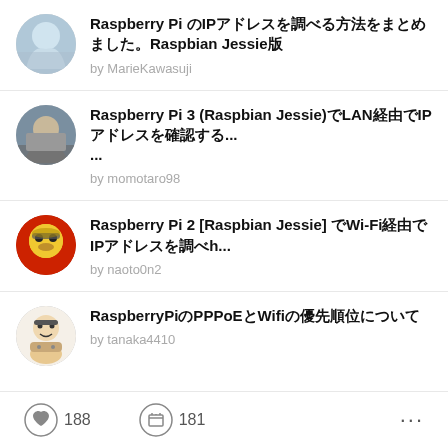Raspberry Pi のIPアドレスを調べる方法をまとめました。Raspbian Jessie版
by MarieKawasuji
Raspberry Pi 3 (Raspbian Jessie)でLAN経由でIPアドレスを確認する...
by momotaro98
Raspberry Pi 2 [Raspbian Jessie] でWi-Fi経由でIPアドレスを調べh...
by naoto0n2
RaspberryPiのPPPoEとWifiの優先順位について
by tanaka4410
188
181